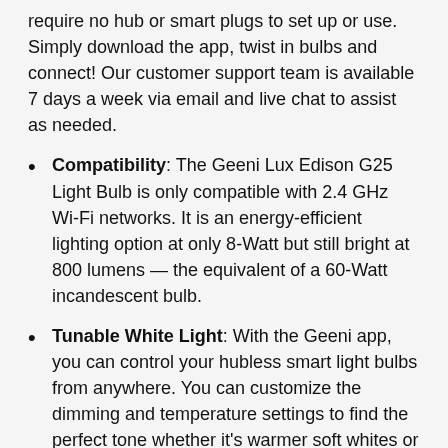require no hub or smart plugs to set up or use. Simply download the app, twist in bulbs and connect! Our customer support team is available 7 days a week via email and live chat to assist as needed.
Compatibility: The Geeni Lux Edison G25 Light Bulb is only compatible with 2.4 GHz Wi-Fi networks. It is an energy-efficient lighting option at only 8-Watt but still bright at 800 lumens — the equivalent of a 60-Watt incandescent bulb.
Tunable White Light: With the Geeni app, you can control your hubless smart light bulbs from anywhere. You can customize the dimming and temperature settings to find the perfect tone whether it's warmer soft whites or refreshing cool whites.
Voice Control: In addition to the smartphone app